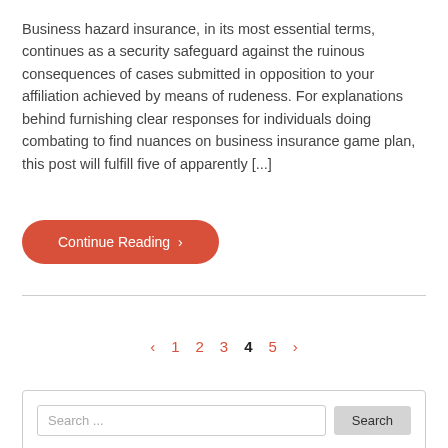Business hazard insurance, in its most essential terms, continues as a security safeguard against the ruinous consequences of cases submitted in opposition to your affiliation achieved by means of rudeness. For explanations behind furnishing clear responses for individuals doing combating to find nuances on business insurance game plan, this post will fulfill five of apparently [...]
Continue Reading ›
‹ 1 2 3 4 5 ›
Search ...